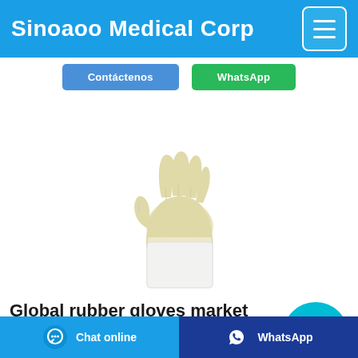Sinoaoo Medical Corp
[Figure (photo): A medical latex/rubber glove (off-white/cream colored) with cuffed wrist, shown in upright position with fingers spread]
Global rubber gloves market value 2017-2023 | Statista
Jan 04, 2021·The global rubber gloves market is anticipated to witness a compound annual growth rate of 7.95% during the forecast period to reach a total market size of US$3.714 billion by 2023, increasing ...
Chat online | WhatsApp